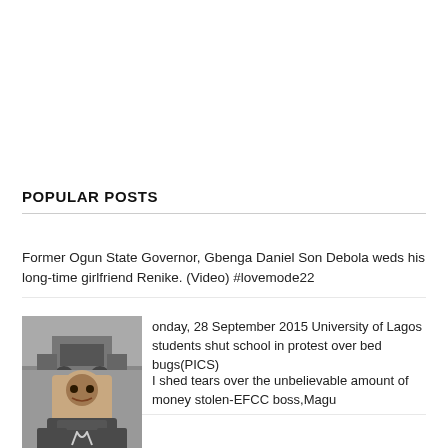POPULAR POSTS
Former Ogun State Governor, Gbenga Daniel Son Debola weds his long-time girlfriend Renike. (Video) #lovemode22
[Figure (photo): Street scene with vehicle, likely a tricycle/keke on a road]
onday, 28 September 2015 University of Lagos students shut school in protest over bed bugs(PICS)
[Figure (photo): Portrait of a man in a suit, appears to be speaking or gesturing]
I shed tears over the unbelievable amount of money stolen-EFCC boss,Magu